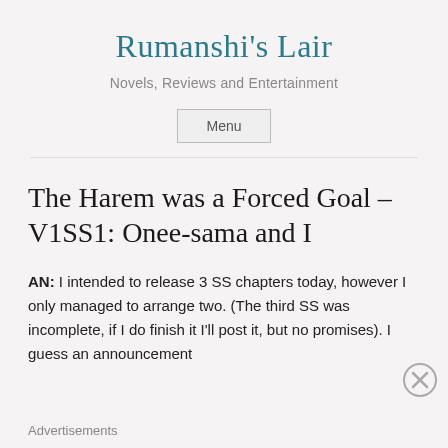Rumanshi's Lair
Novels, Reviews and Entertainment
Menu
The Harem was a Forced Goal – V1SS1: Onee-sama and I
AN: I intended to release 3 SS chapters today, however I only managed to arrange two.  (The third SS was incomplete, if I do finish it I'll post it, but no promises).  I guess an announcement
Advertisements